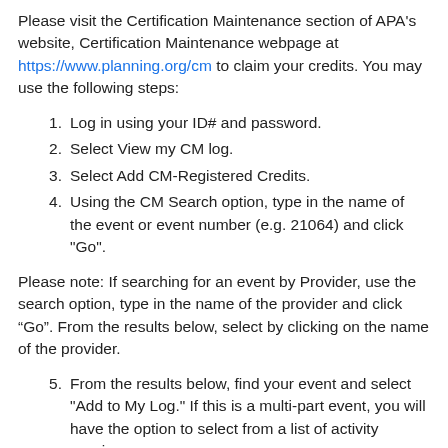Please visit the Certification Maintenance section of APA's website, Certification Maintenance webpage at https://www.planning.org/cm to claim your credits. You may use the following steps:
1. Log in using your ID# and password.
2. Select View my CM log.
3. Select Add CM-Registered Credits.
4. Using the CM Search option, type in the name of the event or event number (e.g. 21064) and click "Go".
Please note: If searching for an event by Provider, use the search option, type in the name of the provider and click “Go”. From the results below, select by clicking on the name of the provider.
5. From the results below, find your event and select "Add to My Log." If this is a multi-part event, you will have the option to select from a list of activity sessions.
6. Please rate the event, add a comment (optional), and click on the Ethics statement and check the box to confirm. Note: you should see a message